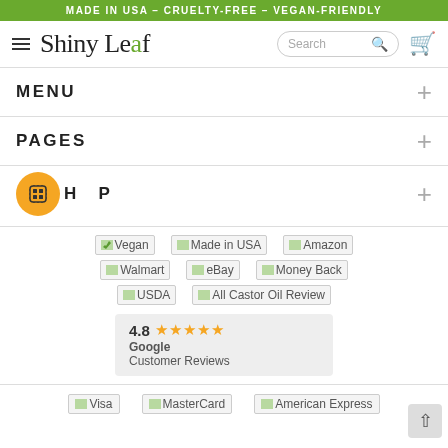MADE IN USA – CRUELTY-FREE – VEGAN-FRIENDLY
[Figure (logo): Shiny Leaf brand logo with green leaf accent, hamburger menu, search bar, and cart icon in website header]
MENU
PAGES
[Figure (illustration): Orange circular CPU/chip icon partially overlapping a HELP section header with a plus button]
[Figure (infographic): Badge placeholder images: Vegan, Made in USA, Amazon, Walmart, eBay, Money Back, USDA, All Castor Oil Review]
4.8 ★★★★★ Google Customer Reviews
[Figure (infographic): Payment method placeholder images: Visa, MasterCard, American Express]